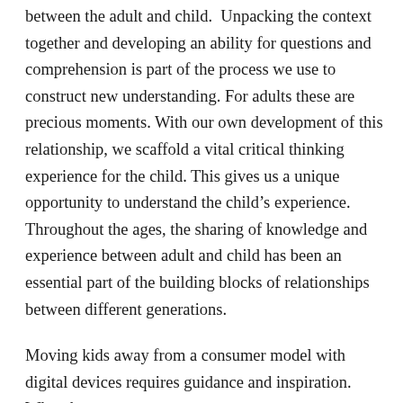between the adult and child. Unpacking the context together and developing an ability for questions and comprehension is part of the process we use to construct new understanding. For adults these are precious moments. With our own development of this relationship, we scaffold a vital critical thinking experience for the child. This gives us a unique opportunity to understand the child's experience. Throughout the ages, the sharing of knowledge and experience between adult and child has been an essential part of the building blocks of relationships between different generations.
Moving kids away from a consumer model with digital devices requires guidance and inspiration. What they